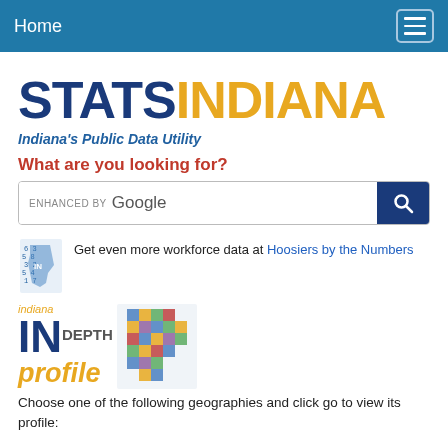Home
STATSINDIANA
Indiana's Public Data Utility
What are you looking for?
ENHANCED BY Google [search box]
Get even more workforce data at Hoosiers by the Numbers
[Figure (logo): Indiana INdepth profile logo with colorful Indiana state map graphic]
Choose one of the following geographies and click go to view its profile: